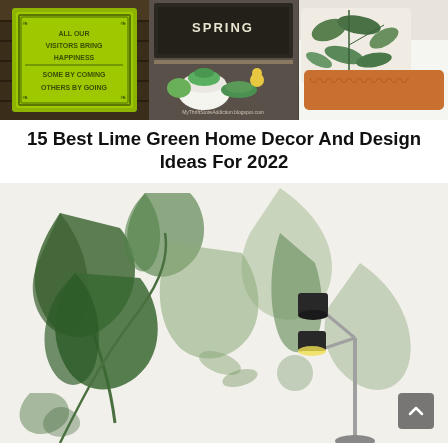[Figure (photo): Three-panel collage: left panel shows a lime green decorative sign reading 'All Our Visitors Bring Happiness Some By Coming Others By Going'; center panel shows a chalkboard labeled SPRING with green decorative items including bowls and small figurines; right panel shows green tropical leaf print pillows on a white bed.]
15 Best Lime Green Home Decor And Design Ideas For 2022
[Figure (photo): Large watercolor botanical wallpaper mural featuring sage and forest green tropical leaves on a light background, with a modern floor lamp with black shades standing in front of it. A small scroll-to-top button is visible in the bottom right corner.]